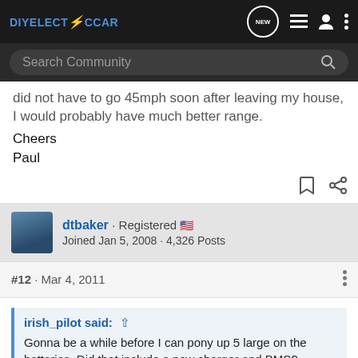DIYELECTRiCCAR — NEW, list, user, menu icons. Search Community bar.
did not have to go 45mph soon after leaving my house, I would probably have much better range.
Cheers
Paul
dtbaker · Registered 🇺🇸
Joined Jan 5, 2008 · 4,326 Posts
#12 · Mar 4, 2011
irish_pilot said: ⬆
Gonna be a while before I can pony up 5 large on the batteries. Did that include a new charger and BMS?